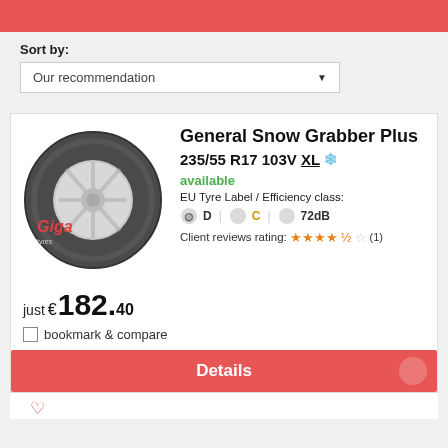Sort by:
Our recommendation
General Snow Grabber Plus
235/55 R17 103V XL ❄
available
EU Tyre Label / Efficiency class:
D  C  72dB
Client reviews rating: ★★★★☆ (1)
just € 182.40
bookmark & compare
Details